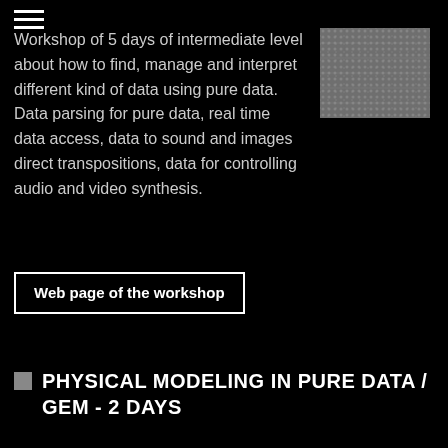Workshop of 5 days of intermediate level about how to find, manage and interpret different kind of data using pure data. Data parsing for pure data, real time data access, data to sound and images direct transpositions, data for controlling audio and video synthesis.
[Figure (photo): Thumbnail image showing a grid or mesh pattern, likely a screenshot of a data visualization or textured surface in Pure Data / GEM]
Web page of the workshop
PHYSICAL MODELING IN PURE DATA / GEM - 2 DAYS